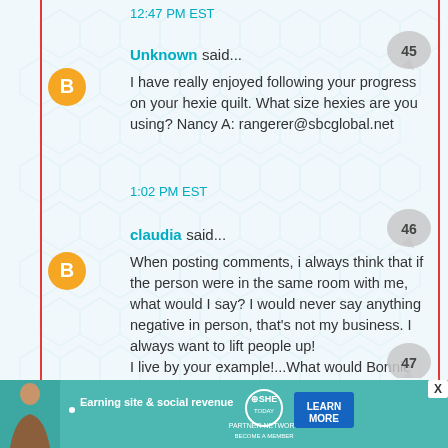12:47 PM EST
Unknown said...
I have really enjoyed following your progress on your hexie quilt. What size hexies are you using? Nancy A: rangerer@sbcglobal.net
1:02 PM EST
claudia said...
When posting comments, i always think that if the person were in the same room with me, what would I say? I would never say anything negative in person, that's not my business. I always want to lift people up!
I live by your example!...What would Bonnie say??? ;)
2:38 PM EST
[Figure (infographic): SHE Partner Network advertisement banner: Earning site & social revenue, LEARN MORE button]